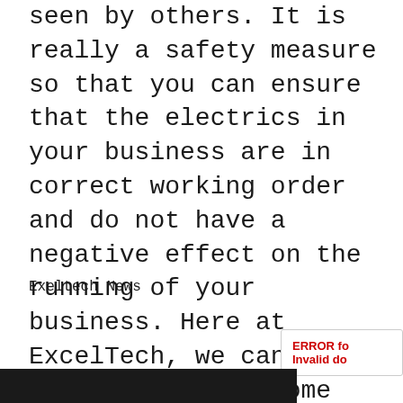seen by others. It is really a safety measure so that you can ensure that the electrics in your business are in correct working order and do not have a negative effect on the running of your business. Here at ExcelTech, we can help your business become safer for all parties by installing Non-Intrusive Maintenance solutions. To find out more visit, www.exeltechltd.com or call us on 0800 975 0372.
Exeltech News